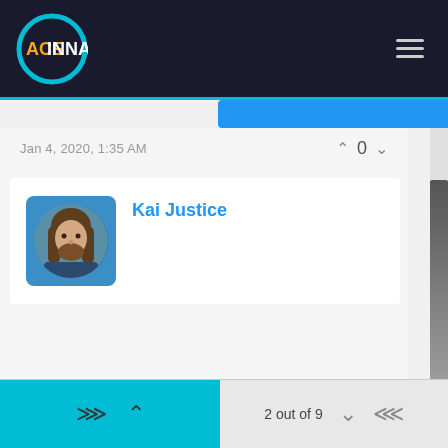[Figure (logo): ACEINNA logo with teal circle and hamburger menu on dark header background]
Jan 4, 2020, 1:35 AM
0
Kai Justice
[Figure (photo): Profile photo of Kai Justice, a young man with long brown hair and beard]
2 out of 9